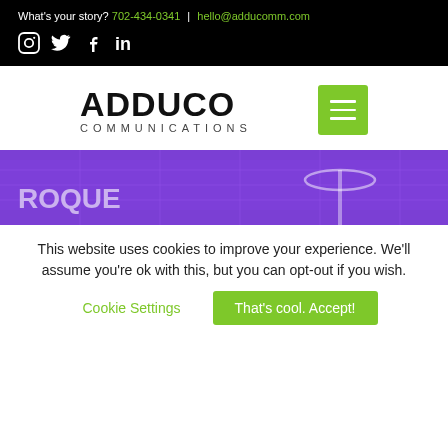What's your story? 702-434-0341 | hello@adducomm.com
[Figure (logo): Social media icons: Instagram, Twitter, Facebook, LinkedIn]
[Figure (logo): Adduco Communications logo with green hamburger menu icon]
[Figure (photo): Purple-tinted hero banner image showing a building with signage including partial text 'ROQUE' and architectural elements]
This website uses cookies to improve your experience. We'll assume you're ok with this, but you can opt-out if you wish.
Cookie Settings | That's cool. Accept!